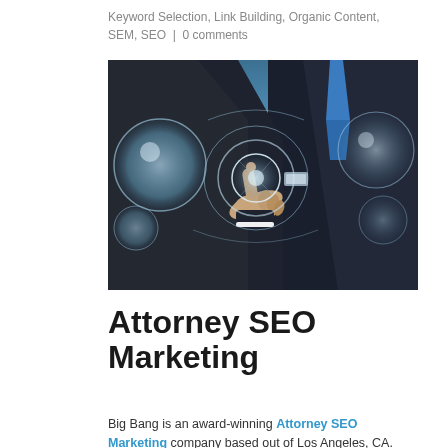Keyword Selection, Link Building, Organic Content, SEM, SEO | 0 comments
[Figure (photo): A man in a dark suit with a blue tie pointing at glowing digital interface circles/bubbles on a blue background, representing digital/tech marketing concept.]
Attorney SEO Marketing
Big Bang is an award-winning Attorney SEO Marketing company based out of Los Angeles, CA.